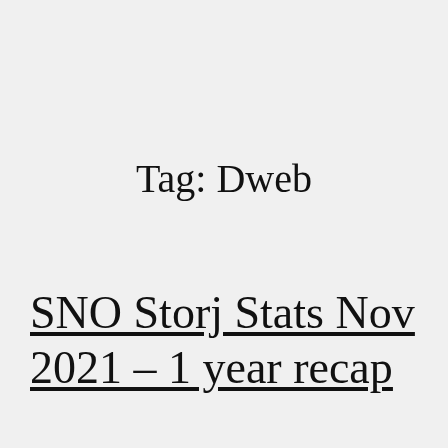Tag: Dweb
SNO Storj Stats Nov 2021 – 1 year recap